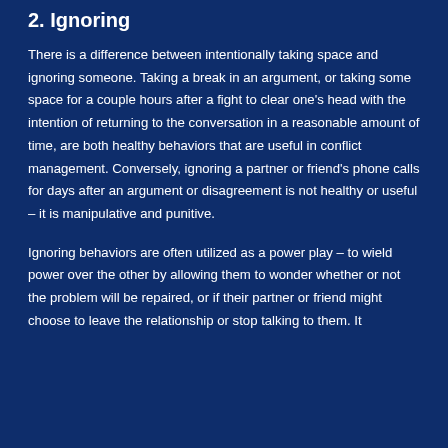2. Ignoring
There is a difference between intentionally taking space and ignoring someone. Taking a break in an argument, or taking some space for a couple hours after a fight to clear one’s head with the intention of returning to the conversation in a reasonable amount of time, are both healthy behaviors that are useful in conflict management. Conversely, ignoring a partner or friend’s phone calls for days after an argument or disagreement is not healthy or useful – it is manipulative and punitive.
Ignoring behaviors are often utilized as a power play – to wield power over the other by allowing them to wonder whether or not the problem will be repaired, or if their partner or friend might choose to leave the relationship or stop talking to them. It